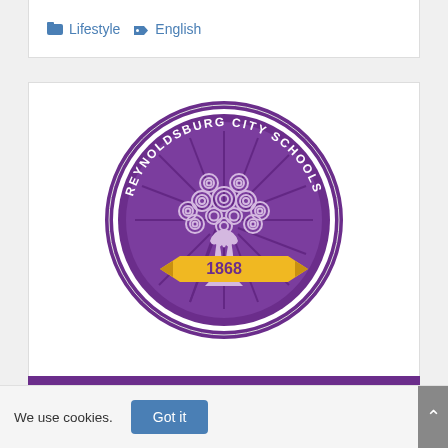Lifestyle  English
[Figure (logo): Reynoldsburg City Schools circular logo with purple background, decorative tree with swirling branches, and gold banner reading '1868']
We use cookies.  Got it